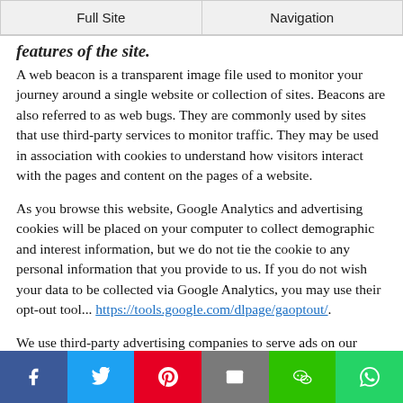Full Site | Navigation
features of the site.
A web beacon is a transparent image file used to monitor your journey around a single website or collection of sites. Beacons are also referred to as web bugs. They are commonly used by sites that use third-party services to monitor traffic. They may be used in association with cookies to understand how visitors interact with the pages and content on the pages of a website.
As you browse this website, Google Analytics and advertising cookies will be placed on your computer to collect demographic and interest information, but we do not tie the cookie to any personal information that you provide to us. If you do not wish your data to be collected via Google Analytics, you may use their opt-out tool... https://tools.google.com/dlpage/gaoptout/.
We use third-party advertising companies to serve ads on our website. These companies use cookies and web beacons in their
f | Twitter | Pinterest | Email | WeChat | WhatsApp